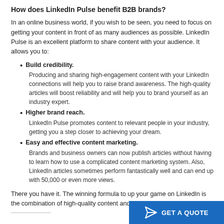How does LinkedIn Pulse benefit B2B brands?
In an online business world, if you wish to be seen, you need to focus on getting your content in front of as many audiences as possible. LinkedIn Pulse is an excellent platform to share content with your audience. It allows you to:
Build credibility. Producing and sharing high-engagement content with your LinkedIn connections will help you to raise brand awareness. The high-quality articles will boost reliability and will help you to brand yourself as an industry expert.
Higher brand reach. LinkedIn Pulse promotes content to relevant people in your industry, getting you a step closer to achieving your dream.
Easy and effective content marketing. Brands and business owners can now publish articles without having to learn how to use a complicated content marketing system. Also, LinkedIn articles sometimes perform fantastically well and can end up with 50,000 or even more views.
There you have it. The winning formula to up your game on LinkedIn is the combination of high-quality content and connections.
[Figure (other): Blue 'GET A QUOTE' call-to-action button with a paper plane icon in the bottom-right corner]